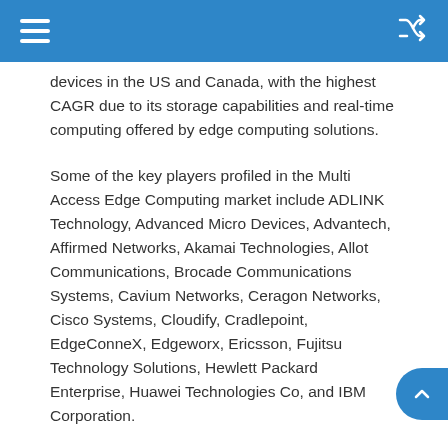devices in the US and Canada, with the highest CAGR due to its storage capabilities and real-time computing offered by edge computing solutions.
Some of the key players profiled in the Multi Access Edge Computing market include ADLINK Technology, Advanced Micro Devices, Advantech, Affirmed Networks, Akamai Technologies, Allot Communications, Brocade Communications Systems, Cavium Networks, Ceragon Networks, Cisco Systems, Cloudify, Cradlepoint, EdgeConneX, Edgeworx, Ericsson, Fujitsu Technology Solutions, Hewlett Packard Enterprise, Huawei Technologies Co, and IBM Corporation.
Market share assessments for the regional and